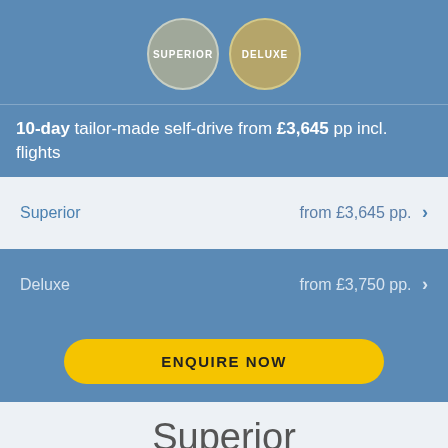[Figure (infographic): Two circular badges labeled SUPERIOR (grey) and DELUXE (gold/olive)]
10-day tailor-made self-drive from £3,645 pp incl. flights
Superior    from £3,645 pp.  >
Deluxe    from £3,750 pp.  >
ENQUIRE NOW
Superior
Low Season
from £3,645 pp. incl. flights
ENQUIRE